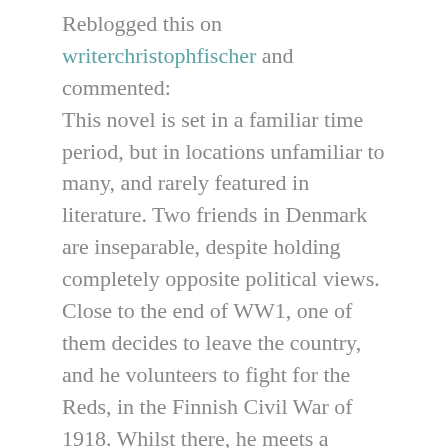Reblogged this on writerchristophfischer and commented:
This novel is set in a familiar time period, but in locations unfamiliar to many, and rarely featured in literature. Two friends in Denmark are inseparable, despite holding completely opposite political views. Close to the end of WW1, one of them decides to leave the country, and he volunteers to fight for the Reds, in the Finnish Civil War of 1918. Whilst there, he meets a nurse, and forms a relationship with her. Meanwhile, his friend back in Denmark is espousing the views of the other side in politics, the burgeoning far-right. He is forced to leave Denmark, and flees to join his friend in Finland, with his arrival turning the relationship into an unusual love triangle.
This story has huge scope, reminiscent (to me at